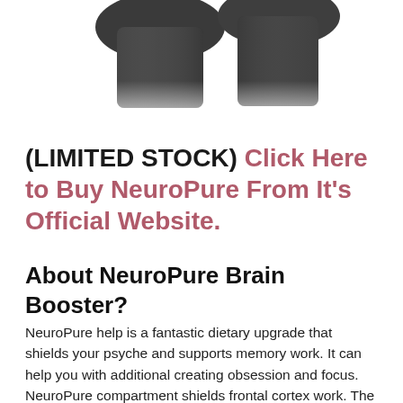[Figure (photo): Partial top view of NeuroPure supplement bottles, blurred at bottom, on white background]
(LIMITED STOCK) Click Here to Buy NeuroPure From It's Official Website.
About NeuroPure Brain Booster?
NeuroPure help is a fantastic dietary upgrade that shields your psyche and supports memory work. It can help you with additional creating obsession and focus. NeuroPure compartment shields frontal cortex work. The significant